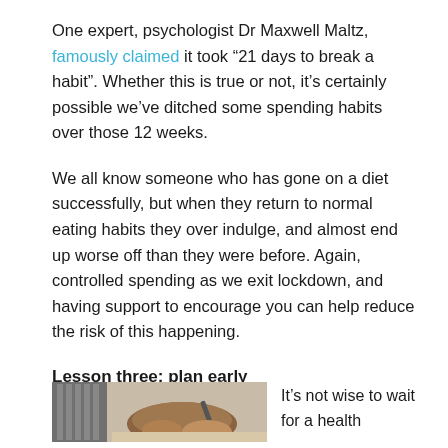One expert, psychologist Dr Maxwell Maltz, famously claimed it took “21 days to break a habit”. Whether this is true or not, it’s certainly possible we’ve ditched some spending habits over those 12 weeks.
We all know someone who has gone on a diet successfully, but when they return to normal eating habits they over indulge, and almost end up worse off than they were before. Again, controlled spending as we exit lockdown, and having support to encourage you can help reduce the risk of this happening.
Lesson three: plan early
[Figure (photo): A close-up photo of a hand holding a pen, appearing to write on paper, with a laptop keyboard visible in the background.]
It’s not wise to wait for a health